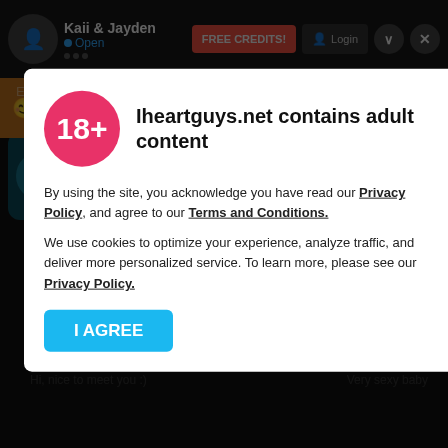Kaii & Jayden • Open
Jayden! You may now start chatting!
[Figure (infographic): 120 FREE CREDITS badge, circular blue starburst graphic]
Kaii & Jayden are here again to cimplir all your fetishes without limits and make your right reality
[Figure (infographic): 18+ age restriction circle in pink/red, adult content warning modal overlay]
Iheartguys.net contains adult content
By using the site, you acknowledge you have read our Privacy Policy, and agree to our Terms and Conditions.
We use cookies to optimize your experience, analyze traffic, and deliver more personalized service. To learn more, please see our Privacy Policy.
I AGREE